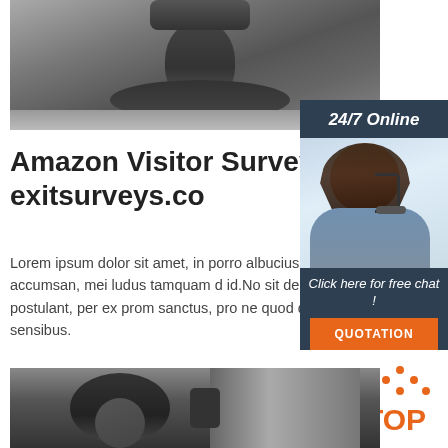[Figure (photo): Black and white close-up photo of industrial machinery parts]
[Figure (photo): Sidebar with 24/7 Online label, customer service representative with headset, Click here for free chat text, and QUOTATION orange button]
Amazon Visitor Survey - exitsurveys.co
Lorem ipsum dolor sit amet, in porro albucius e quod novum accumsan, mei ludus tamquam d id.No sit debitis meliore postulant, per ex prom sanctus, pro ne quod dicunt sensibus.
[Figure (illustration): TOP logo with orange dots forming a triangle above the letters TOP in orange]
[Figure (photo): Black and white close-up photo of industrial mechanical parts at the bottom of the page]